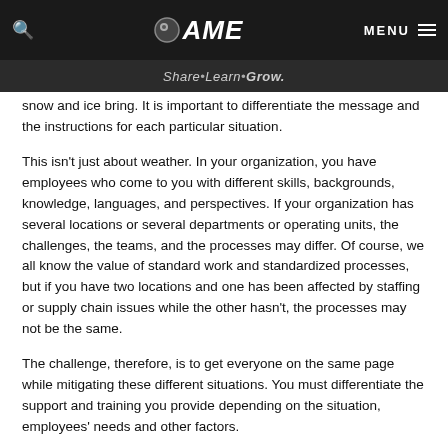AME — Share · Learn · Grow.
snow and ice bring. It is important to differentiate the message and the instructions for each particular situation.
This isn't just about weather. In your organization, you have employees who come to you with different skills, backgrounds, knowledge, languages, and perspectives. If your organization has several locations or several departments or operating units, the challenges, the teams, and the processes may differ. Of course, we all know the value of standard work and standardized processes, but if you have two locations and one has been affected by staffing or supply chain issues while the other hasn't, the processes may not be the same.
The challenge, therefore, is to get everyone on the same page while mitigating these different situations. You must differentiate the support and training you provide depending on the situation, employees' needs and other factors.